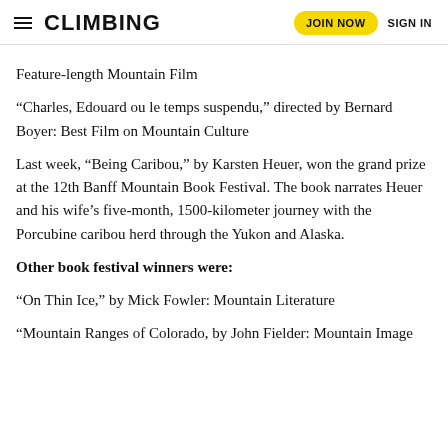CLIMBING | JOIN NOW | SIGN IN
Feature-length Mountain Film
“Charles, Edouard ou le temps suspendu,” directed by Bernard Boyer: Best Film on Mountain Culture
Last week, “Being Caribou,” by Karsten Heuer, won the grand prize at the 12th Banff Mountain Book Festival. The book narrates Heuer and his wife’s five-month, 1500-kilometer journey with the Porcubine caribou herd through the Yukon and Alaska.
Other book festival winners were:
“On Thin Ice,” by Mick Fowler: Mountain Literature
“Mountain Ranges of Colorado, by John Fielder: Mountain Image